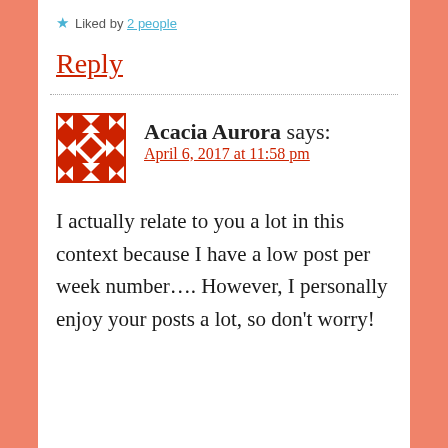★ Liked by 2 people
Reply
Acacia Aurora says:
April 6, 2017 at 11:58 pm
I actually relate to you a lot in this context because I have a low post per week number…. However, I personally enjoy your posts a lot, so don't worry!